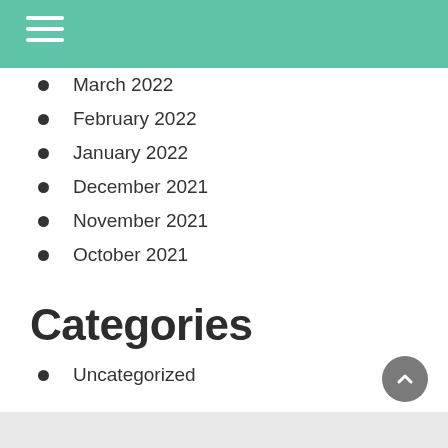Navigation header bar
March 2022
February 2022
January 2022
December 2021
November 2021
October 2021
Categories
Uncategorized